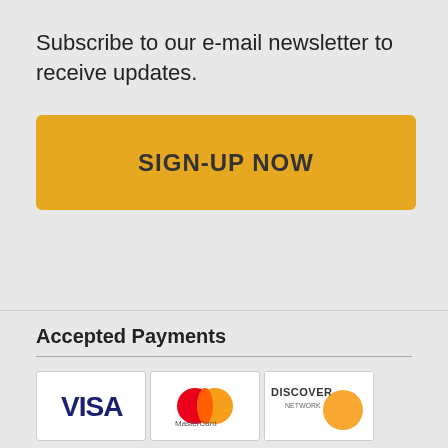Subscribe to our e-mail newsletter to receive updates.
[Figure (other): SIGN-UP NOW button — large yellow/amber rectangular button with rounded corners]
Accepted Payments
[Figure (other): Payment method icons: VISA, MasterCard, and Discover Network logos displayed in white bordered boxes]
[Figure (other): Search icon (magnifying glass) and shopping cart icon with badge showing 0]
Search